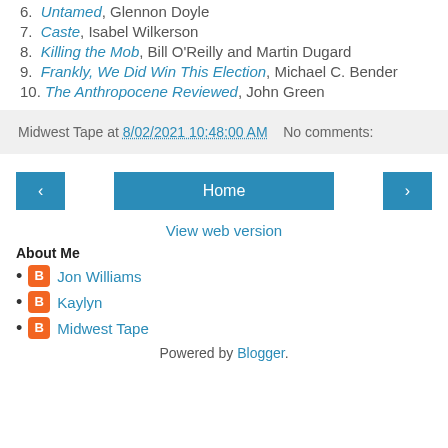6. Untamed, Glennon Doyle
7. Caste, Isabel Wilkerson
8. Killing the Mob, Bill O'Reilly and Martin Dugard
9. Frankly, We Did Win This Election, Michael C. Bender
10. The Anthropocene Reviewed, John Green
Midwest Tape at 8/02/2021 10:48:00 AM   No comments:
[Figure (screenshot): Navigation buttons: left arrow, Home, right arrow]
View web version
About Me
Jon Williams
Kaylyn
Midwest Tape
Powered by Blogger.